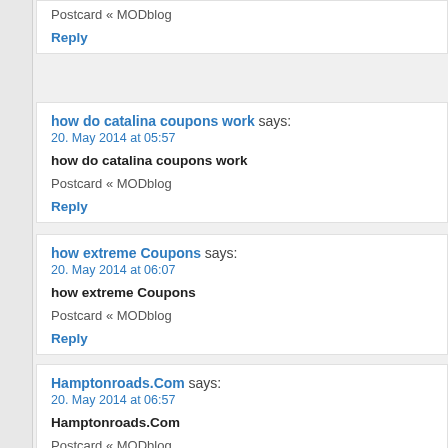Postcard « MODblog
Reply
how do catalina coupons work says: 20. May 2014 at 05:57
how do catalina coupons work
Postcard « MODblog
Reply
how extreme Coupons says: 20. May 2014 at 06:07
how extreme Coupons
Postcard « MODblog
Reply
Hamptonroads.Com says: 20. May 2014 at 06:57
Hamptonroads.Com
Postcard « MODblog
Reply